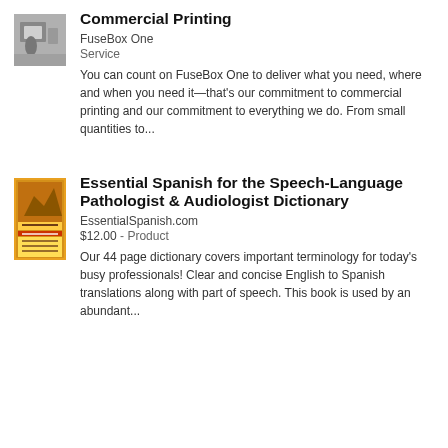[Figure (photo): Photo thumbnail of a person at a printing machine]
Commercial Printing
FuseBox One
Service
You can count on FuseBox One to deliver what you need, where and when you need it—that's our commitment to commercial printing and our commitment to everything we do. From small quantities to...
[Figure (photo): Book cover thumbnail for Essential Spanish for the Speech-Language Pathologist & Audiologist Dictionary]
Essential Spanish for the Speech-Language Pathologist & Audiologist Dictionary
EssentialSpanish.com
$12.00 - Product
Our 44 page dictionary covers important terminology for today's busy professionals! Clear and concise English to Spanish translations along with part of speech. This book is used by an abundant...